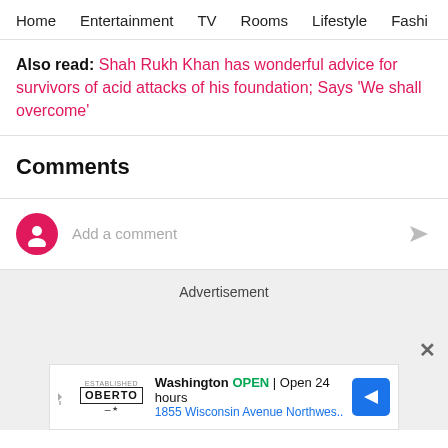Home   Entertainment   TV   Rooms   Lifestyle   Fashi
Also read: Shah Rukh Khan has wonderful advice for survivors of acid attacks of his foundation; Says 'We shall overcome'
Comments
Add a comment
Advertisement
Washington OPEN | Open 24 hours 1855 Wisconsin Avenue Northwes..